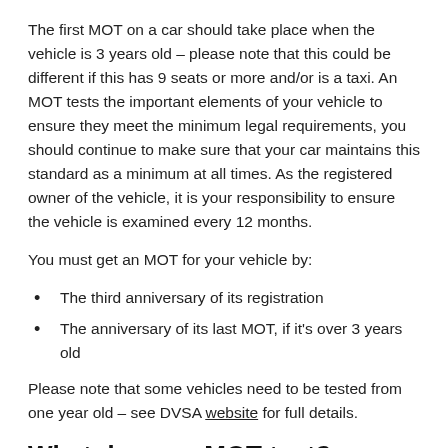The first MOT on a car should take place when the vehicle is 3 years old – please note that this could be different if this has 9 seats or more and/or is a taxi. An MOT tests the important elements of your vehicle to ensure they meet the minimum legal requirements, you should continue to make sure that your car maintains this standard as a minimum at all times. As the registered owner of the vehicle, it is your responsibility to ensure the vehicle is examined every 12 months.
You must get an MOT for your vehicle by:
The third anniversary of its registration
The anniversary of its last MOT, if it's over 3 years old
Please note that some vehicles need to be tested from one year old – see DVSA website for full details.
What does an MOT test?
The components that are inspected during a car MOT are: